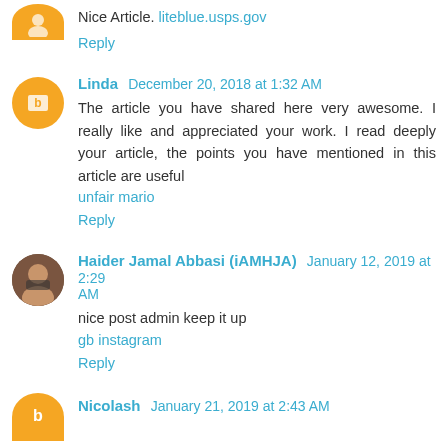Nice Article. liteblue.usps.gov
Reply
Linda December 20, 2018 at 1:32 AM
The article you have shared here very awesome. I really like and appreciated your work. I read deeply your article, the points you have mentioned in this article are useful
unfair mario
Reply
Haider Jamal Abbasi (iAMHJA) January 12, 2019 at 2:29 AM
nice post admin keep it up
gb instagram
Reply
Nicolash January 21, 2019 at 2:43 AM